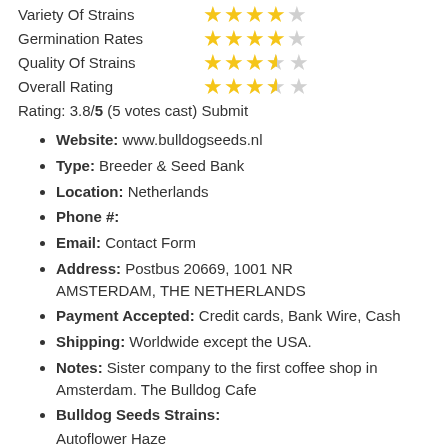Variety Of Strains: 4 out of 5 stars
Germination Rates: 4 out of 5 stars
Quality Of Strains: 3.5 out of 5 stars
Overall Rating: 3.5 out of 5 stars
Rating: 3.8/5 (5 votes cast) Submit
Website: www.bulldogseeds.nl
Type: Breeder & Seed Bank
Location: Netherlands
Phone #:
Email: Contact Form
Address: Postbus 20669, 1001 NR AMSTERDAM, THE NETHERLANDS
Payment Accepted: Credit cards, Bank Wire, Cash
Shipping: Worldwide except the USA.
Notes: Sister company to the first coffee shop in Amsterdam. The Bulldog Cafe
Bulldog Seeds Strains: Autoflower Haze, Bubblegum Kush